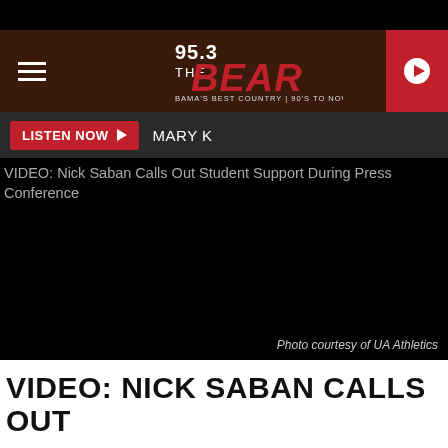[Figure (logo): 95.3 The Bear radio station logo - Bama's Best Country, 90's to Now]
LISTEN NOW  MARY K
VIDEO: Nick Saban Calls Out Student Support During Press Conference
[Figure (photo): Dark/black photo area with 'Photo courtesy of UA Athletics' credit]
Photo courtesy of UA Athletics
VIDEO: NICK SABAN CALLS OUT